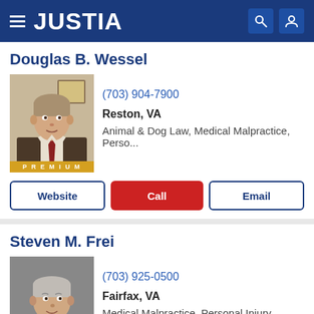JUSTIA
Douglas B. Wessel
(703) 904-7900
Reston, VA
Animal & Dog Law, Medical Malpractice, Perso...
Steven M. Frei
(703) 925-0500
Fairfax, VA
Medical Malpractice, Personal Injury, Product...